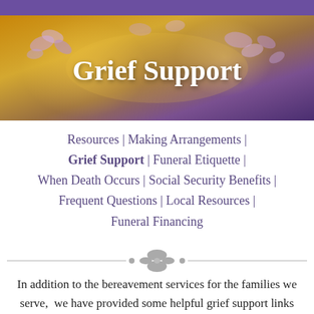[Figure (photo): Floral banner header with purple flowers and warm golden bokeh lighting background, with 'Grief Support' title overlaid in white bold text]
Grief Support
Resources | Making Arrangements | Grief Support | Funeral Etiquette | When Death Occurs | Social Security Benefits | Frequent Questions | Local Resources | Funeral Financing
[Figure (illustration): Decorative ornamental divider: horizontal line with a stylized leaf/petal ornament in the center, gray color]
In addition to the bereavement services for the families we serve, we have provided some helpful grief support links below: